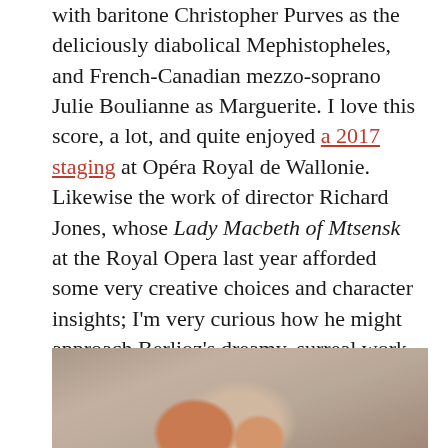with baritone Christopher Purves as the deliciously diabolical Mephistopheles, and French-Canadian mezzo-soprano Julie Boulianne as Marguerite. I love this score, a lot, and quite enjoyed a 2017 staging at Opéra Royal de Wallonie. Likewise the work of director Richard Jones, whose Lady Macbeth of Mtsensk at the Royal Opera last year afforded some very creative choices and character insights; I'm very curious how he might approach Berlioz's dreamy, surreal work, together with Ticciati's signature lyrical approach.
[Figure (photo): A close-up photo showing what appears to be a hand or fingers against a stone or concrete surface.]